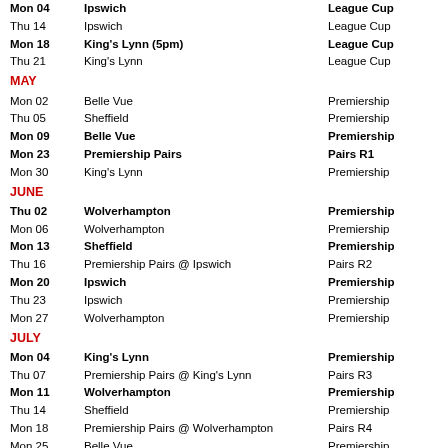Mon 04  Ipswich  League Cup
Thu 14  Ipswich  League Cup
Mon 18  King's Lynn (5pm)  League Cup
Thu 21  King's Lynn  League Cup
MAY
Mon 02  Belle Vue  Premiership
Thu 05  Sheffield  Premiership
Mon 09  Belle Vue  Premiership
Mon 23  Premiership Pairs  Pairs R1
Mon 30  King's Lynn  Premiership
JUNE
Thu 02  Wolverhampton  Premiership
Mon 06  Wolverhampton  Premiership
Mon 13  Sheffield  Premiership
Thu 16  Premiership Pairs @ Ipswich  Pairs R2
Mon 20  Ipswich  Premiership
Thu 23  Ipswich  Premiership
Mon 27  Wolverhampton  Premiership
JULY
Mon 04  King's Lynn  Premiership
Thu 07  Premiership Pairs @ King's Lynn  Pairs R3
Mon 11  Wolverhampton  Premiership
Thu 14  Sheffield  Premiership
Mon 18  Premiership Pairs @ Wolverhampton  Pairs R4
Mon 25  Belle Vue  Premiership
AUGUST
Mon 08  Wolverhampton  Premiership
Thu 18  Premiership Pairs @ Sheffield  Pairs R5
Thu 25  King's Lynn  Premiership
Mon 29  Sheffield (5.00pm)  Premiership
SEPTEMBER
Thu 01  King's Lynn  Premiership
Mon 05  Ipswich  Premiership